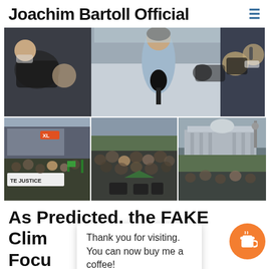Joachim Bartoll Official
[Figure (photo): News photo collage: top row shows a person in light blue sweater holding a microphone surrounded by press photographers; bottom row has three images of large outdoor crowds at a climate protest, with a banner reading 'TE JUSTICE' visible, and cityscapes in background.]
As Predicted, the FAKE Clim[ate] [Strik]k in Focu[s]
Thank you for visiting. You can now buy me a coffee!
By Joachim Bartoll / September 25, 2021 / Weather